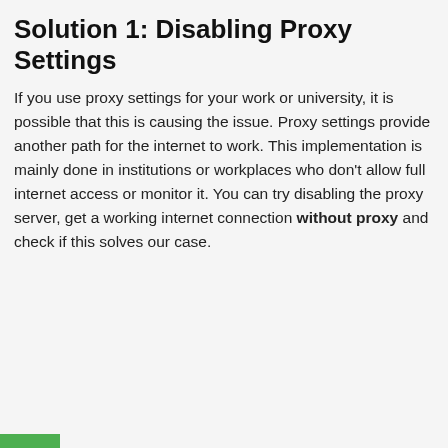Solution 1: Disabling Proxy Settings
If you use proxy settings for your work or university, it is possible that this is causing the issue. Proxy settings provide another path for the internet to work. This implementation is mainly done in institutions or workplaces who don’t allow full internet access or monitor it. You can try disabling the proxy server, get a working internet connection without proxy and check if this solves our case.